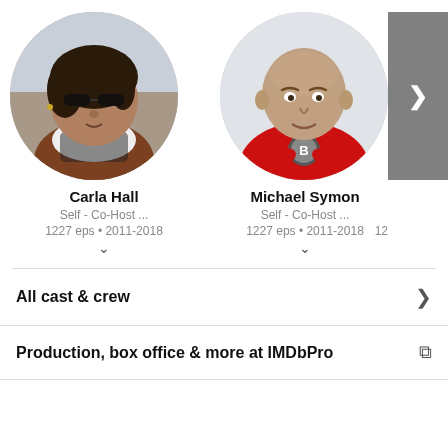[Figure (photo): Circular profile photo of Carla Hall wearing sunglasses and a scarf, with a brown jacket]
Carla Hall
Self - Co-Host ...
1227 eps • 2011-2018
[Figure (photo): Circular profile photo of Michael Symon wearing a red t-shirt with arms crossed, bald head]
Michael Symon
Self - Co-Host ...
1227 eps • 2011-2018
All cast & crew
Production, box office & more at IMDbPro